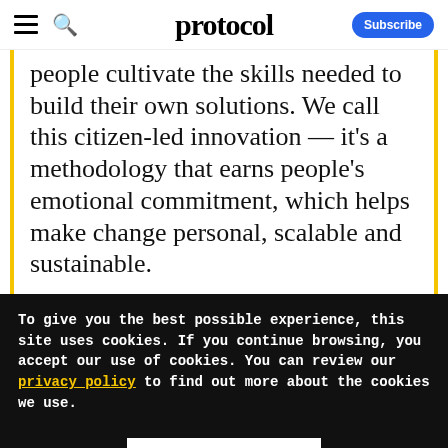protocol — Subscribe
people cultivate the skills needed to build their own solutions. We call this citizen-led innovation — it's a methodology that earns people's emotional commitment, which helps make change personal, scalable and sustainable.
To give you the best possible experience, this site uses cookies. If you continue browsing, you accept our use of cookies. You can review our privacy policy to find out more about the cookies we use.
Accept